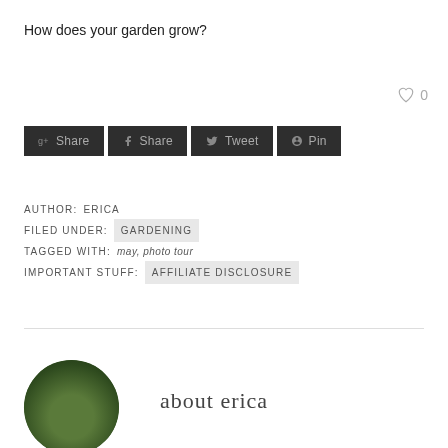How does your garden grow?
[Figure (other): Heart icon with count 0]
[Figure (other): Social sharing buttons: g+ Share, f Share, Tweet, Pin]
AUTHOR: ERICA
FILED UNDER: GARDENING
TAGGED WITH: may, photo tour
IMPORTANT STUFF: AFFILIATE DISCLOSURE
[Figure (photo): Circular portrait photo of Erica with green foliage background]
about erica